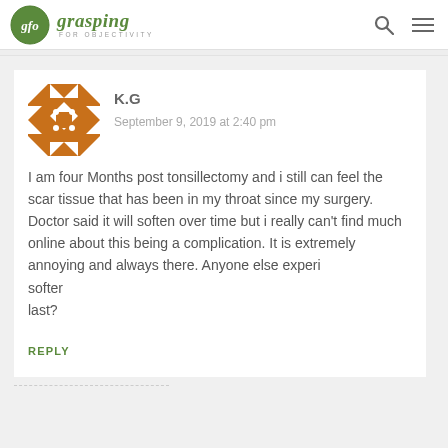gfo grasping FOR OBJECTIVITY
K.G
September 9, 2019 at 2:40 pm
[Figure (illustration): Square decorative avatar with brown/orange geometric pattern featuring diamonds and dots on white background]
I am four Months post tonsillectomy and i still can feel the scar tissue that has been in my throat since my surgery. Doctor said it will soften over time but i really can't find much online about this being a complication. It is extremely annoying and always there. Anyone else experi
softer
last?
REPLY